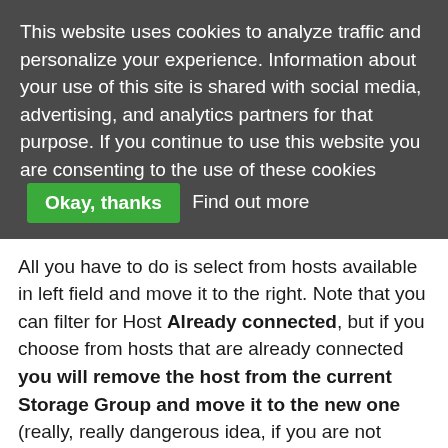This website uses cookies to analyze traffic and personalize your experience. Information about your use of this site is shared with social media, advertising, and analytics partners for that purpose. If you continue to use this website you are consenting to the use of these cookies [Okay, thanks] Find out more
All you have to do is select from hosts available in left field and move it to the right. Note that you can filter for Host Already connected, but if you choose from hosts that are already connected you will remove the host from the current Storage Group and move it to the new one (really, really dangerous idea, if you are not aware of that!). As I mentioned before, there is a way of putting same Host in two different Storage Groups, but let's keep it for another post.